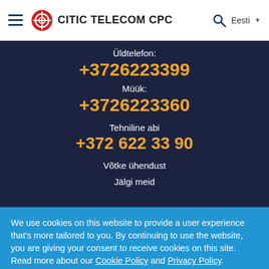CITIC TELECOM CPC — Eesti
Üldtelefon:
+3726223399
Müük:
+3726223360
Tehniline abi
+372 622 33 90
Võtke ühendust
Jälgi meid
We use cookies on this website to provide a user experience that's more tailored to you. By continuing to use the website, you are giving your consent to receive cookies on this site. Read more about our Cookie Policy and Privacy Policy.